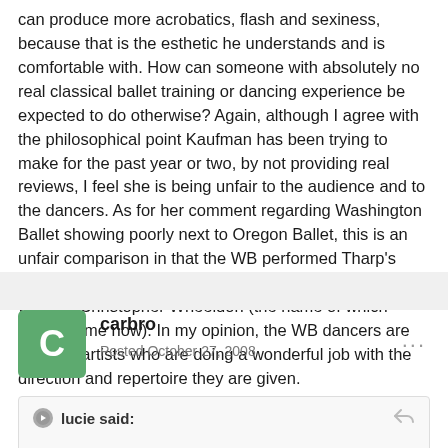can produce more acrobatics, flash and sexiness, because that is the esthetic he understands and is comfortable with. How can someone with absolutely no real classical ballet training or dancing experience be expected to do otherwise? Again, although I agree with the philosophical point Kaufman has been trying to make for the past year or two, by not providing real reviews, I feel she is being unfair to the audience and to the dancers. As for her comment regarding Washington Ballet showing poorly next to Oregon Ballet, this is an unfair comparison in that the WB performed Tharp's "Nine Sinatra Songs" whereas OBT performed a serious work by Christopher Wheeldon (the name of which escapes me now). In my opinion, the WB dancers are talented artists who are doing a wonderful job with the direction and repertoire they are given.
carbro
Posted October 27, 2008
lucie said: